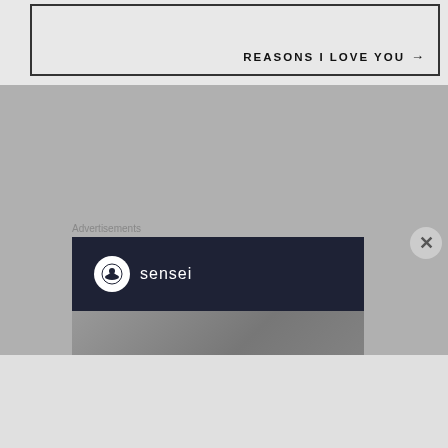REASONS I LOVE YOU →
Advertisements
[Figure (illustration): Sensei app advertisement banner with dark navy header containing Sensei logo and name, and a gray image area below with a teal arrow graphic]
[Figure (illustration): Close button (X) circle overlay]
Advertisements
[Figure (illustration): Pocket Casts red advertisement banner reading 'An app by listeners, for listeners.' with phone graphic and Pocket Casts logo]